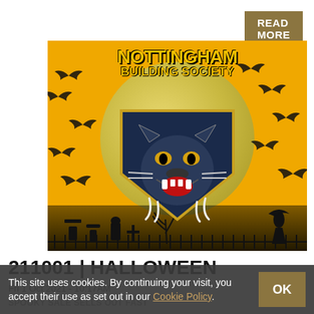READ MORE
[Figure (photo): Halloween themed Nottingham Building Society ice hockey team banner/cushion showing a panther logo with a full moon background, bats, and graveyard silhouettes]
211001 | HALLOWEEN
Fri 1 Oct 2021 - 10:17AM
SPOOKY SALE SELLS OUT FAST
This site uses cookies. By continuing your visit, you accept their use as set out in our Cookie Policy.
OK